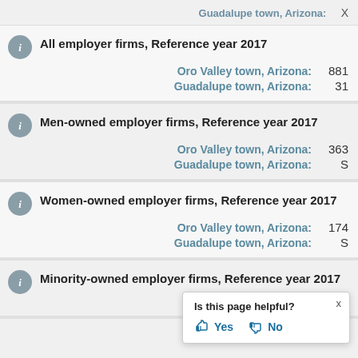Guadalupe town, Arizona:   X
All employer firms, Reference year 2017
Oro Valley town, Arizona: 881
Guadalupe town, Arizona: 31
Men-owned employer firms, Reference year 2017
Oro Valley town, Arizona: 363
Guadalupe town, Arizona: S
Women-owned employer firms, Reference year 2017
Oro Valley town, Arizona: 174
Guadalupe town, Arizona: S
Minority-owned employer firms, Reference year 2017
Oro Valley town, Arizona: (partially obscured)
Is this page helpful? Yes No